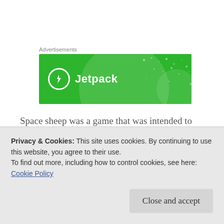Advertisements
[Figure (logo): Jetpack advertisement banner with green background, circular decorative elements, white dots pattern, Jetpack logo icon (lightning bolt in circle) and 'Jetpack' text in white]
Space sheep was a game that was intended to demo our concept of transfoming single player games into multiplayer games by adding a social
Privacy & Cookies: This site uses cookies. By continuing to use this website, you agree to their use.
To find out more, including how to control cookies, see here: Cookie Policy
Close and accept
alien, and each player is trying to steal sheep